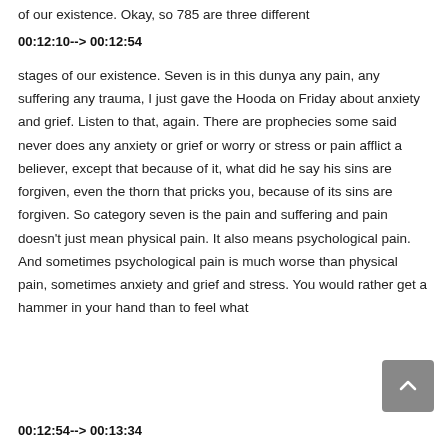of our existence. Okay, so 785 are three different
00:12:10--> 00:12:54
stages of our existence. Seven is in this dunya any pain, any suffering any trauma, I just gave the Hooda on Friday about anxiety and grief. Listen to that, again. There are prophecies some said never does any anxiety or grief or worry or stress or pain afflict a believer, except that because of it, what did he say his sins are forgiven, even the thorn that pricks you, because of its sins are forgiven. So category seven is the pain and suffering and pain doesn't just mean physical pain. It also means psychological pain. And sometimes psychological pain is much worse than physical pain, sometimes anxiety and grief and stress. You would rather get a hammer in your hand than to feel what
00:12:54--> 00:13:34